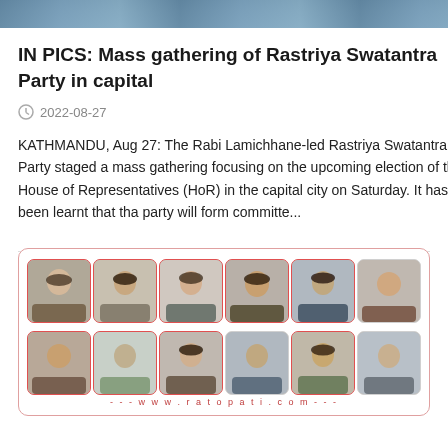[Figure (photo): Top banner image showing a crowd/gathering scene]
IN PICS: Mass gathering of Rastriya Swatantra Party in capital
2022-08-27
KATHMANDU, Aug 27: The Rabi Lamichhane-led Rastriya Swatantra Party staged a mass gathering focusing on the upcoming election of the House of Representatives (HoR) in the capital city on Saturday. It has been learnt that tha party will form committe...
[Figure (photo): Gallery of 12 portrait photos of political figures arranged in 2 rows of 6, with www.ratopati.com watermark at bottom]